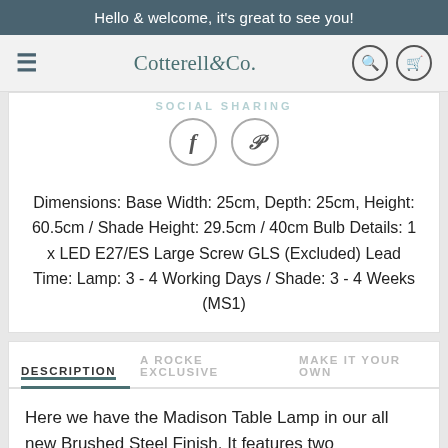Hello & welcome, it's great to see you!
[Figure (screenshot): Cotterell & Co. navigation bar with hamburger menu, logo, search and cart icons]
SOCIAL SHARING
[Figure (infographic): Social sharing icons: Facebook (f) and Pinterest (P) in circles]
Dimensions: Base Width: 25cm, Depth: 25cm, Height: 60.5cm / Shade Height: 29.5cm / 40cm Bulb Details: 1 x LED E27/ES Large Screw GLS (Excluded) Lead Time: Lamp: 3 - 4 Working Days / Shade: 3 - 4 Weeks (MS1)
DESCRIPTION
A ROCKE EXCLUSIVE
MAKE IT YOUR OWN
Here we have the Madison Table Lamp in our all new Brushed Steel Finish. It features two interconnecting tapered rectangles